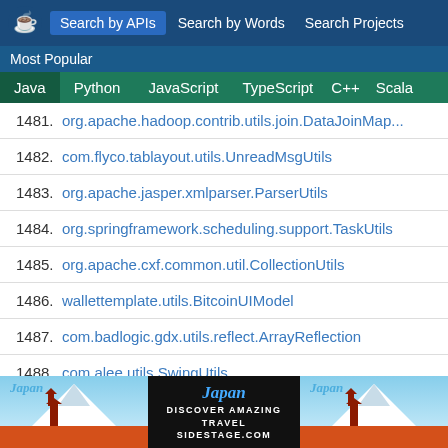Search by APIs | Search by Words | Search Projects
Most Popular
Java | Python | JavaScript | TypeScript | C++ | Scala
1481. org.apache.hadoop.contrib.utils.join.DataJoinMap...
1482. com.flyco.tablayout.utils.UnreadMsgUtils
1483. org.apache.jasper.xmlparser.ParserUtils
1484. org.springframework.scheduling.support.TaskUtils
1485. org.apache.cxf.common.util.CollectionUtils
1486. wallettemplate.utils.BitcoinUIModel
1487. com.badlogic.gdx.utils.reflect.ArrayReflection
1488. com.alee.utils.SwingUtils
1489. com.gianlu.commonutils.preferences.BasePrefere...
[Figure (other): Japan travel advertisement banner with Japanese temple imagery and text DISCOVER AMAZING TRAVEL SIDESTAGE.COM]